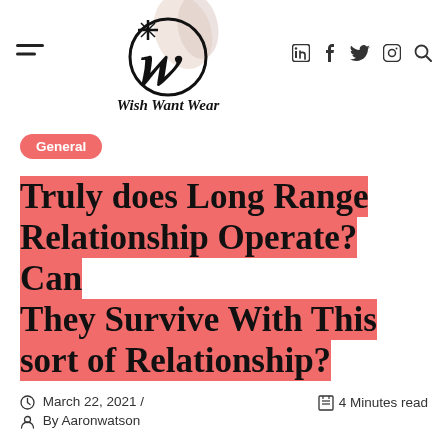[Figure (logo): Wish Want Wear logo with stylized W and nail polish bottles illustration, text 'Wish Want Wear' below]
General
Truly does Long Range Relationship Operate? Can They Survive With This sort of Relationship?
March 22, 2021 / By Aaronwatson   4 Minutes read